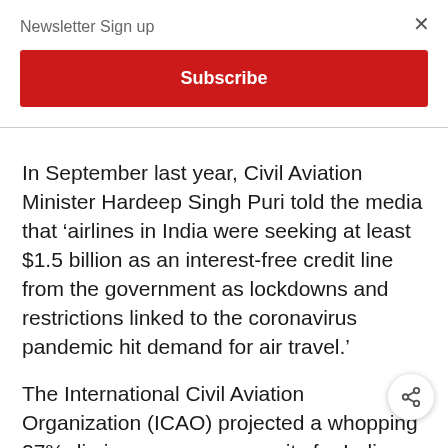Newsletter Sign up
Subscribe
In September last year, Civil Aviation Minister Hardeep Singh Puri told the media that ‘airlines in India were seeking at least $1.5 billion as an interest-free credit line from the government as lockdowns and restrictions linked to the coronavirus pandemic hit demand for air travel.’
The International Civil Aviation Organization (ICAO) projected a whopping 27% dip in passenger capacity for India last year. "On March 5th, we estimated that industry revenues could take a hit of up to $113 billion as a result of wh... we thought then would be a worst case scenario